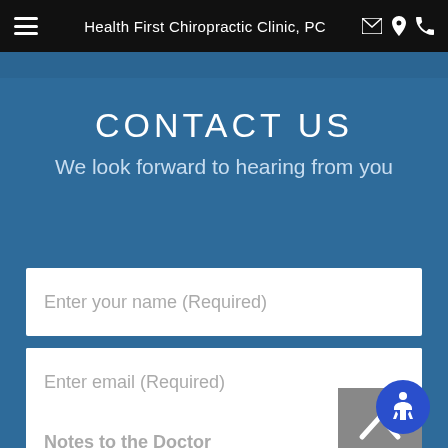Health First Chiropractic Clinic, PC
CONTACT US
We look forward to hearing from you
Enter your name (Required)
Enter email (Required)
(XXX)XXX-XXXX (Required)
Notes to the Doctor